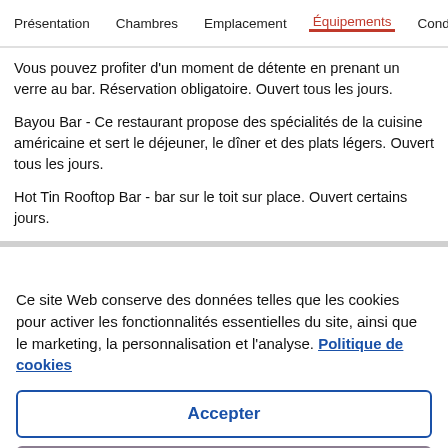Présentation  Chambres  Emplacement  Équipements  Cond
Vous pouvez profiter d'un moment de détente en prenant un verre au bar. Réservation obligatoire. Ouvert tous les jours.
Bayou Bar - Ce restaurant propose des spécialités de la cuisine américaine et sert le déjeuner, le dîner et des plats légers. Ouvert tous les jours.
Hot Tin Rooftop Bar - bar sur le toit sur place. Ouvert certains jours.
Ce site Web conserve des données telles que les cookies pour activer les fonctionnalités essentielles du site, ainsi que le marketing, la personnalisation et l'analyse. Politique de cookies
Accepter
Refuser